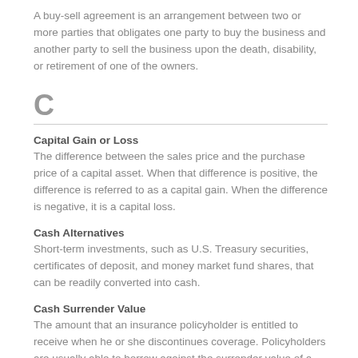A buy-sell agreement is an arrangement between two or more parties that obligates one party to buy the business and another party to sell the business upon the death, disability, or retirement of one of the owners.
C
Capital Gain or Loss
The difference between the sales price and the purchase price of a capital asset. When that difference is positive, the difference is referred to as a capital gain. When the difference is negative, it is a capital loss.
Cash Alternatives
Short-term investments, such as U.S. Treasury securities, certificates of deposit, and money market fund shares, that can be readily converted into cash.
Cash Surrender Value
The amount that an insurance policyholder is entitled to receive when he or she discontinues coverage. Policyholders are usually able to borrow against the surrender value of a policy from the